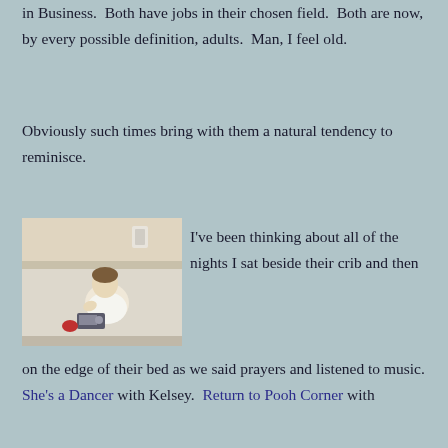in Business.  Both have jobs in their chosen field.  Both are now, by every possible definition, adults.  Man, I feel old.
Obviously such times bring with them a natural tendency to reminisce.
[Figure (photo): A young child sitting in a bathtub playing with a small radio or electronic device, wearing a white shirt]
I've been thinking about all of the nights I sat beside their crib and then on the edge of their bed as we said prayers and listened to music.  She's a Dancer with Kelsey.  Return to Pooh Corner with